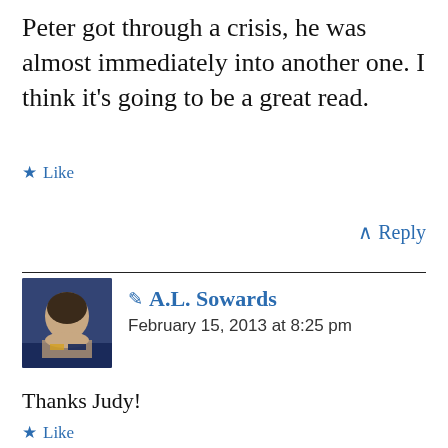Peter got through a crisis, he was almost immediately into another one. I think it’s going to be a great read.
★ Like
∧ Reply
✏ A.L. Sowards
February 15, 2013 at 8:25 pm
Thanks Judy!
★ Like
Rachel